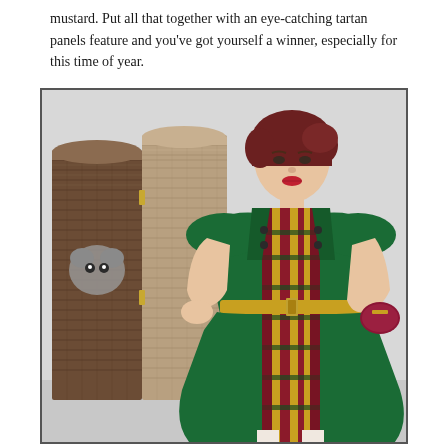mustard. Put all that together with an eye-catching tartan panels feature and you've got yourself a winner, especially for this time of year.
[Figure (photo): Woman with auburn hair wearing a green vintage-style dress with tartan panel detail and mustard belt, standing in front of a decorative folding screen room divider.]